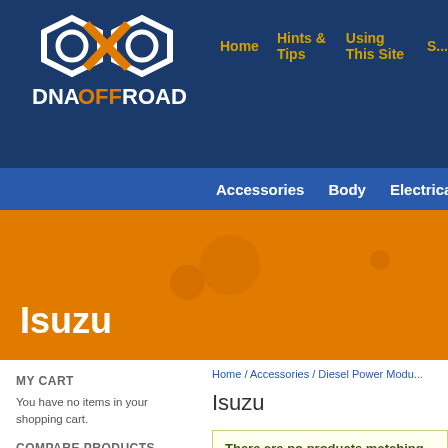[Figure (logo): DNA Offroad logo with orange hexagon design and white/orange text]
Home / Hints & Tips / Using This Site / S...
Accessories  Body  Electrical
Isuzu
Home / Accessories / Diesel Power Modu...
Isuzu
MY CART
You have no items in your shopping cart.
There are no products matching
COMPARE PRODUCTS
You have no items to compare.